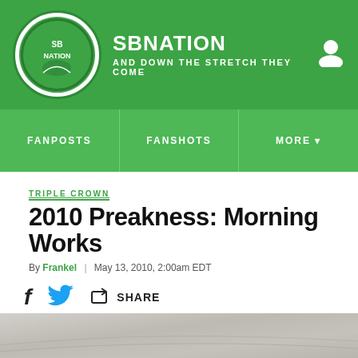SB NATION — AND DOWN THE STRETCH THEY COME
FANPOSTS | FANSHOTS | MORE
TRIPLE CROWN
2010 Preakness: Morning Works
By Frankel | May 13, 2010, 2:00am EDT
SHARE
[Figure (photo): Bottom portion showing a hazy outdoor scene, likely a racetrack or field with misty/overcast sky]